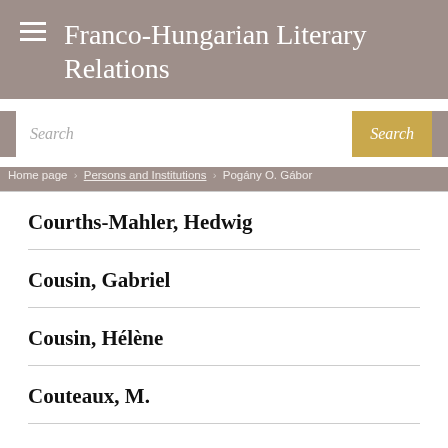Franco-Hungarian Literary Relations
Search
Home page / Persons and Institutions / Pogány O. Gábor
Courths-Mahler, Hedwig
Cousin, Gabriel
Cousin, Hélène
Couteaux, M.